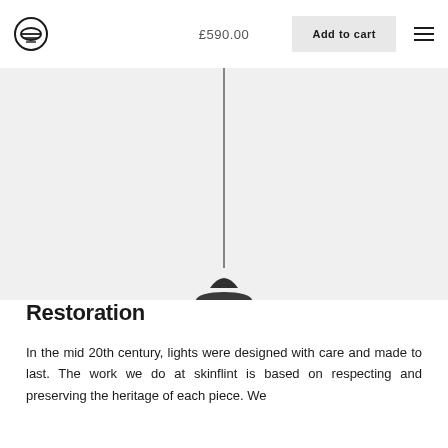[Figure (logo): Circular logo with horizontal lines inside, resembling an eye or sun symbol]
£590.00
Add to cart
[Figure (photo): Product hero image area showing partial view of a light fixture on a light grey background]
Restoration
In the mid 20th century, lights were designed with care and made to last. The work we do at skinflint is based on respecting and preserving the heritage of each piece. We